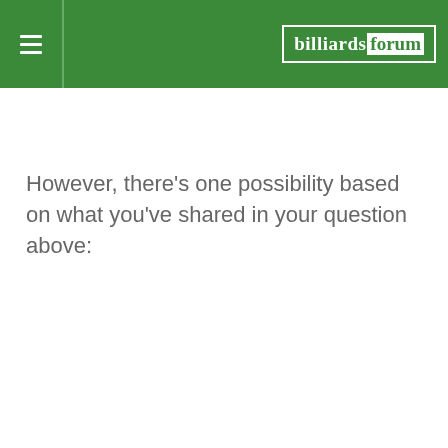billiardsforum
However, there's one possibility based on what you've shared in your question above: